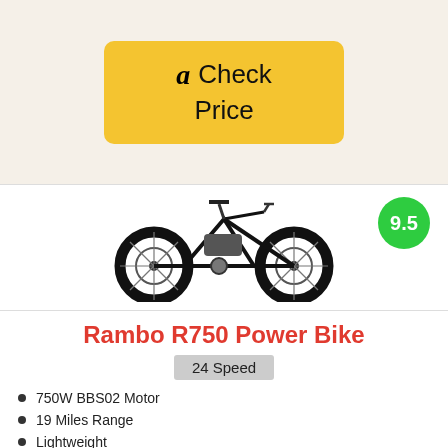[Figure (other): Amazon yellow 'Check Price' button with Amazon logo]
[Figure (photo): Black fat-tire electric bicycle (Rambo R750 Power Bike) with a green score badge showing 9.5]
Rambo R750 Power Bike
24 Speed
750W BBS02 Motor
19 Miles Range
Lightweight
Fat Tires